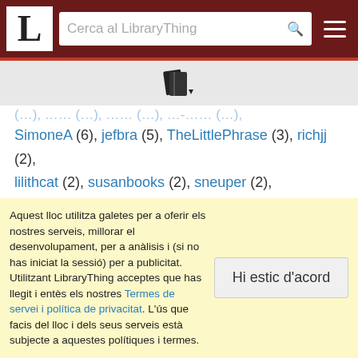LibraryThing – Cerca al LibraryThing
[Figure (illustration): Two overlapping book icons in dark color with a small downward arrow]
(...), ...(..),  ...(..),  ...-...(..),
SimoneA (6), jefbra (5), TheLittlePhrase (3), richjj (2), lilithcat (2), susanbooks (2), sneuper (2), scott_beeler (2), MARSlibrary (1), Collectorator (1), r.orrison (1), shj2be (1), matthewgaul (1), scholler (1), MarthaJeanne (1), daisy_may (1)
Aquest lloc utilitza galetes per a oferir els nostres serveis, millorar el desenvolupament, per a anàlisis i (si no has iniciat la sessió) per a publicitat. Utilitzant LibraryThing acceptes que has llegit i entès els nostres Termes de servei i política de privacitat. L'ús que facis del lloc i dels seus serveis està subjecte a aquestes polítiques i termes.